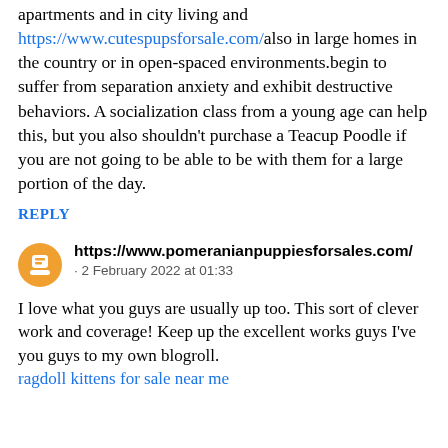apartments and in city living and https://www.cutespupsforsale.com/also in large homes in the country or in open-spaced environments.begin to suffer from separation anxiety and exhibit destructive behaviors. A socialization class from a young age can help this, but you also shouldn't purchase a Teacup Poodle if you are not going to be able to be with them for a large portion of the day.
REPLY
https://www.pomeranianpuppiesforsales.com/ · 2 February 2022 at 01:33
I love what you guys are usually up too. This sort of clever work and coverage! Keep up the excellent works guys I've you guys to my own blogroll. ragdoll kittens for sale near me